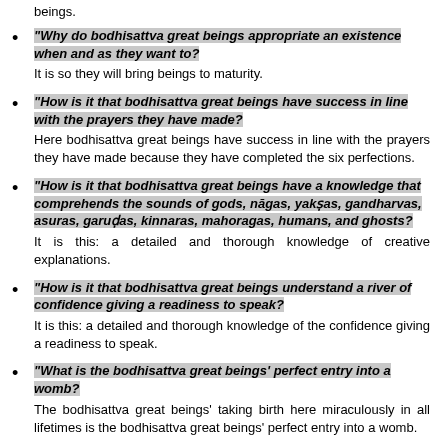beings.
"Why do bodhisattva great beings appropriate an existence when and as they want to? It is so they will bring beings to maturity.
"How is it that bodhisattva great beings have success in line with the prayers they have made? Here bodhisattva great beings have success in line with the prayers they have made because they have completed the six perfections.
"How is it that bodhisattva great beings have a knowledge that comprehends the sounds of gods, nāgas, yakṣas, gandharvas, asuras, garuḍas, kinnaras, mahoragas, humans, and ghosts? It is this: a detailed and thorough knowledge of creative explanations.
"How is it that bodhisattva great beings understand a river of confidence giving a readiness to speak? It is this: a detailed and thorough knowledge of the confidence giving a readiness to speak.
"What is the bodhisattva great beings' perfect entry into a womb? The bodhisattva great beings' taking birth here miraculously in all lifetimes is the bodhisattva great beings' perfect entry into a womb.